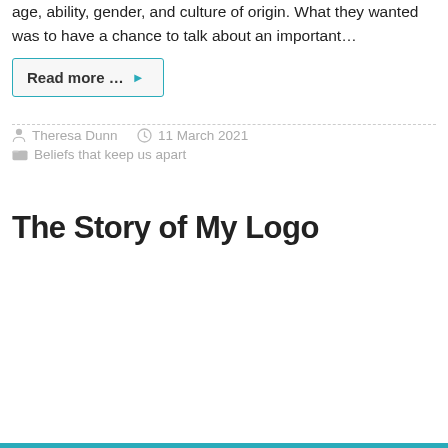age, ability, gender, and culture of origin. What they wanted was to have a chance to talk about an important…
Read more …
Theresa Dunn   11 March 2021
Beliefs that keep us apart
The Story of My Logo